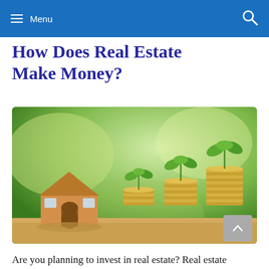Menu
How Does Real Estate Make Money?
[Figure (photo): A wooden house model next to three stacks of coins of increasing height, each with a green plant sprouting from the top, set against a blurred green outdoor background — symbolizing real estate investment growth.]
Are you planning to invest in real estate? Real estate investments can help you obtain financial